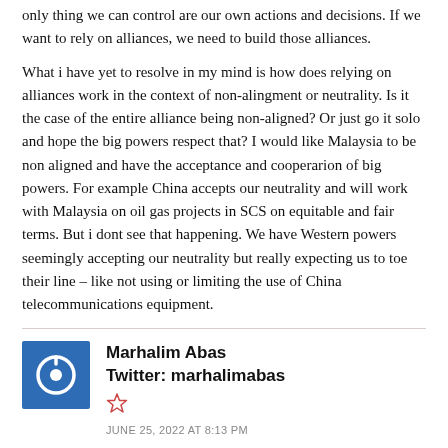only thing we can control are our own actions and decisions. If we want to rely on alliances, we need to build those alliances.
What i have yet to resolve in my mind is how does relying on alliances work in the context of non-alingment or neutrality. Is it the case of the entire alliance being non-aligned? Or just go it solo and hope the big powers respect that? I would like Malaysia to be non aligned and have the acceptance and cooperarion of big powers. For example China accepts our neutrality and will work with Malaysia on oil gas projects in SCS on equitable and fair terms. But i dont see that happening. We have Western powers seemingly accepting our neutrality but really expecting us to toe their line – like not using or limiting the use of China telecommunications equipment.
[Figure (illustration): Blue square avatar icon with a white power/user symbol in the center, representing the author Marhalim Abas]
Marhalim Abas
Twitter: marhalimabas
JUNE 25, 2022 AT 8:13 PM